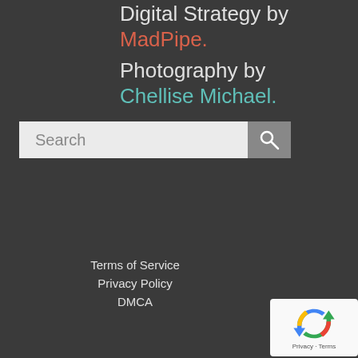Digital Strategy by
MadPipe.
Photography by
Chellise Michael.
[Figure (other): Search bar with text input field and magnifying glass search button]
Terms of Service
Privacy Policy
DMCA
[Figure (other): reCAPTCHA badge with circular arrows logo and Privacy - Terms text]